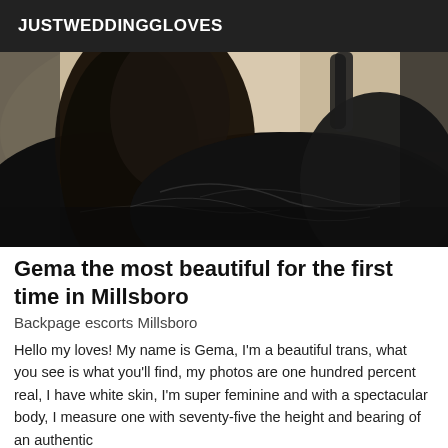JUSTWEDDINGGLOVES
[Figure (photo): Close-up photo of a person with dark hair, wearing a dark black top/garment. The image is mostly dark tones showing hair and clothing.]
Gema the most beautiful for the first time in Millsboro
Backpage escorts Millsboro
Hello my loves! My name is Gema, I'm a beautiful trans, what you see is what you'll find, my photos are one hundred percent real, I have white skin, I'm super feminine and with a spectacular body, I measure one with seventy-five the height and bearing of an authentic